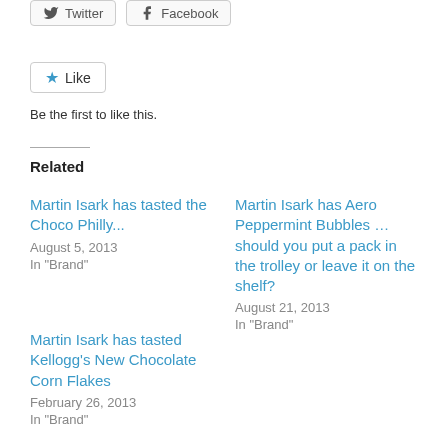[Figure (other): Social sharing buttons: Twitter and Facebook button]
[Figure (other): Like button with star icon]
Be the first to like this.
Related
Martin Isark has tasted the Choco Philly...
August 5, 2013
In "Brand"
Martin Isark has Aero Peppermint Bubbles ... should you put a pack in the trolley or leave it on the shelf?
August 21, 2013
In "Brand"
Martin Isark has tasted Kellogg's New Chocolate Corn Flakes
February 26, 2013
In "Brand"